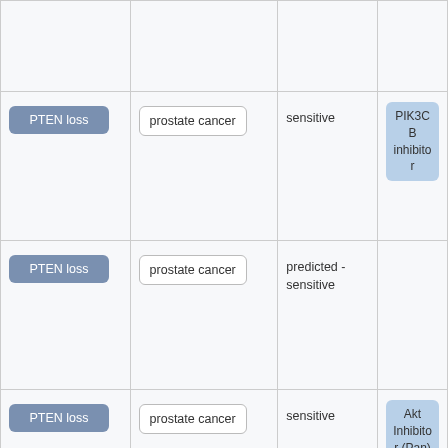| Biomarker | Cancer Type | Response | Drug |
| --- | --- | --- | --- |
|  |  |  |  |
| PTEN loss | prostate cancer | sensitive | PIK3CB inhibitor |
| PTEN loss | prostate cancer | predicted - sensitive |  |
| PTEN loss | prostate cancer | sensitive | Akt Inhibitor (Pan) |
|  |  |  |  |